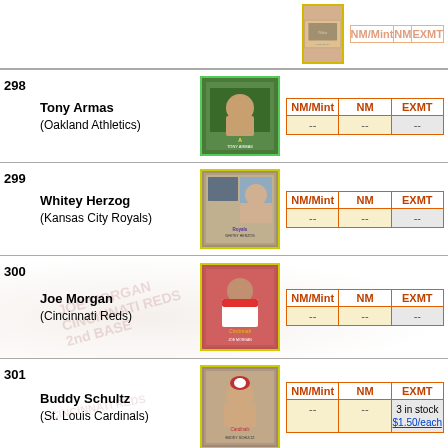(partial top row) - card visible, pricing truncated at top
298 Tony Armas (Oakland Athletics) - NM/Mint: --, NM: --, EXMT: --
299 Whitey Herzog (Kansas City Royals) - NM/Mint: --, NM: --, EXMT: --
300 Joe Morgan (Cincinnati Reds) - NM/Mint: --, NM: --, EXMT: --
301 Buddy Schultz (St. Louis Cardinals) - NM/Mint: --, NM: --, EXMT: 3 in stock $1.50/each
302 Cubs Team (Chicago Cubs) - NM/Mint: --, NM: --, EXMT: --